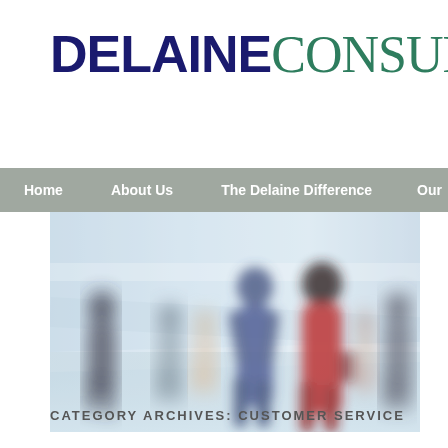DELAINECONSULTING
Home | About Us | The Delaine Difference | Our
[Figure (photo): Blurred motion photo of multiple people walking in a busy environment, predominantly blue and white tones with one figure in red standing out in the center-right area.]
CATEGORY ARCHIVES: CUSTOMER SERVICE